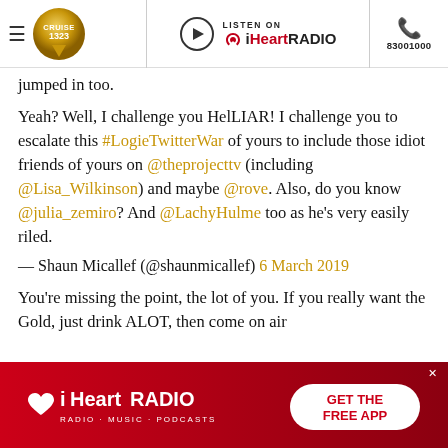CRUISE1323 | LISTEN ON iHeartRADIO | 83001000
jumped in too.
Yeah? Well, I challenge you HelLIAR! I challenge you to escalate this #LogieTwitterWar of yours to include those idiot friends of yours on @theprojecttv (including @Lisa_Wilkinson) and maybe @rove. Also, do you know @julia_zemiro? And @LachyHulme too as he's very easily riled.
— Shaun Micallef (@shaunmicallef) 6 March 2019
You're missing the point, the lot of you. If you really want the Gold, just drink ALOT, then come on air with...
[Figure (screenshot): iHeartRADIO advertisement banner with GET THE FREE APP button]